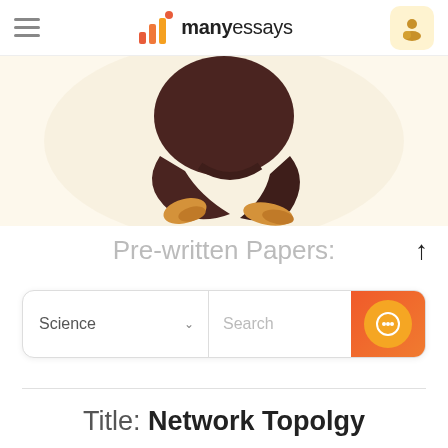manyessays
[Figure (illustration): Illustration of a person sitting cross-legged on the floor, wearing dark brown clothing and tan socks, against a light warm background]
Pre-written Papers:
Science  Search
Title: Network Topolgy